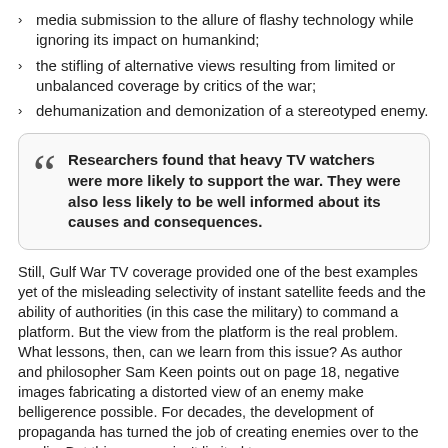media submission to the allure of flashy technology while ignoring its impact on humankind;
the stifling of alternative views resulting from limited or unbalanced coverage by critics of the war;
dehumanization and demonization of a stereotyped enemy.
Researchers found that heavy TV watchers were more likely to support the war. They were also less likely to be well informed about its causes and consequences.
Still, Gulf War TV coverage provided one of the best examples yet of the misleading selectivity of instant satellite feeds and the ability of authorities (in this case the military) to command a platform. But the view from the platform is the real problem. What lessons, then, can we learn from this issue? As author and philosopher Sam Keen points out on page 18, negative images fabricating a distorted view of an enemy make belligerence possible. For decades, the development of propaganda has turned the job of creating enemies over to the media. But this process isn't limited to war.
Race riots, urban conflicts, even political campaigns, provide day-to-day examples of public relations distortion and